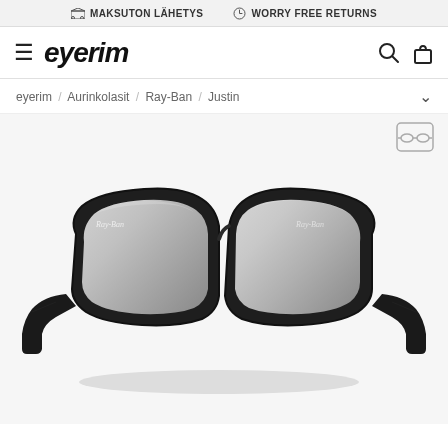MAKSUTON LÄHETYS   WORRY FREE RETURNS
eyerim
eyerim / Aurinkolasit / Ray-Ban / Justin
[Figure (photo): Ray-Ban Justin sunglasses with matte black frame and silver mirror lenses, shown at a slight angle on a light gray background.]